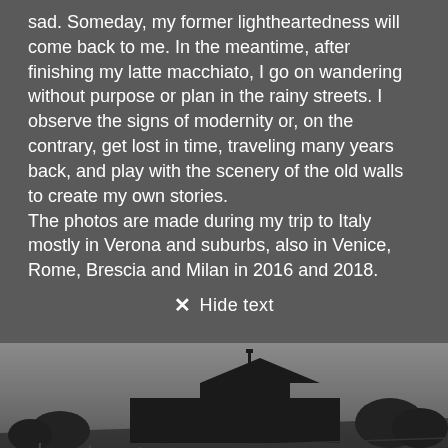sad. Someday, my former lightheartedness will come back to me. In the meantime, after finishing my latte macchiato, I go on wandering without purpose or plan in the rainy streets. I observe the signs of modernity or, on the contrary, get lost in time, traveling many years back, and play with the scenery of the old walls to create my own stories.
The photos are made during my trip to Italy mostly in Verona and suburbs, also in Venice, Rome, Brescia and Milan in 2016 and 2018.
✕ Hide text
[Figure (photo): Black and white photograph of a farmhouse or rural building on a hill with rows of what appears to be a vineyard or agricultural terracing in the foreground, under an overcast sky.]